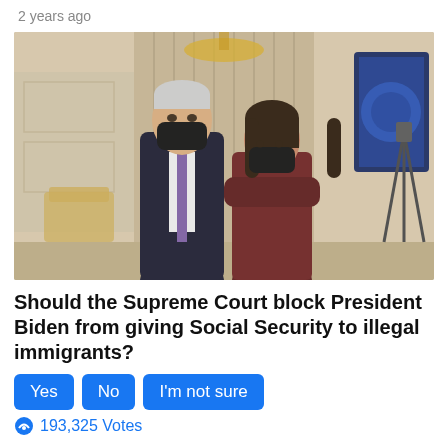2 years ago
[Figure (photo): Two people wearing black masks standing indoors in a formal room, facing each other. One in a dark suit with purple tie, one in a dark red/maroon outfit with arms crossed. Ornate room with white walls, gold chandelier, curtains, and camera equipment visible.]
Should the Supreme Court block President Biden from giving Social Security to illegal immigrants?
Yes   No   I'm not sure
193,325 Votes